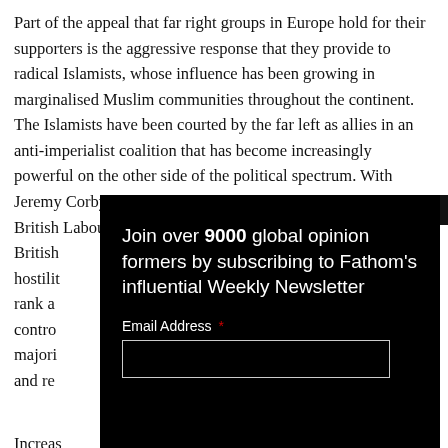Part of the appeal that far right groups in Europe hold for their supporters is the aggressive response that they provide to radical Islamists, whose influence has been growing in marginalised Muslim communities throughout the continent. The Islamists have been courted by the far left as allies in an anti-imperialist coalition that has become increasingly powerful on the other side of the political spectrum. With Jeremy Corbyn's rise to power in the British [Labour Party, this trend has become the main focus of British...] hostili[ty...] rank a[nd...] contro[l...] majori[ty...] and re[...]
[Figure (screenshot): Newsletter subscription modal overlay with black background showing Facebook logo partially visible on left side. Text reads: 'Join over 9000 global opinion formers by subscribing to Fathom's influential Weekly Newsletter'. Below is an email address field with asterisk and an input box. A close button (X) appears in top right corner.]
Increa[singly...] caught[...] coalitio[n...] to thes[e...]